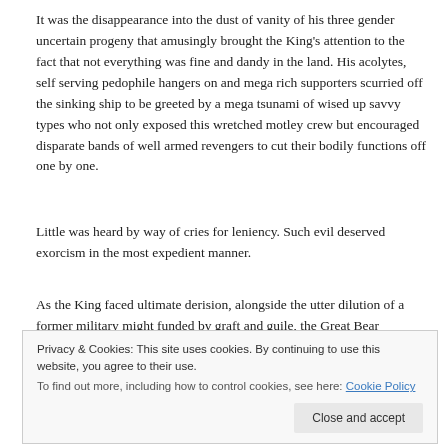It was the disappearance into the dust of vanity of his three gender uncertain progeny that amusingly brought the King's attention to the fact that not everything was fine and dandy in the land. His acolytes, self serving pedophile hangers on and mega rich supporters scurried off the sinking ship to be greeted by a mega tsunami of wised up savvy types who not only exposed this wretched motley crew but encouraged disparate bands of well armed revengers to cut their bodily functions off one by one.
Little was heard by way of cries for leniency. Such evil deserved exorcism in the most expedient manner.
As the King faced ultimate derision, alongside the utter dilution of a former military might funded by graft and guile, the Great Bear alongside its protected family of well cared for peoples finally showed its might. The Red Dragon, whose expertise in
Privacy & Cookies: This site uses cookies. By continuing to use this website, you agree to their use.
To find out more, including how to control cookies, see here: Cookie Policy
Mutterings of discontent were stammered out in a lonely isle at